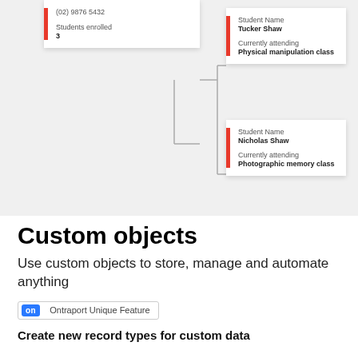[Figure (infographic): UI diagram showing connected data cards. Left card shows phone number (02) 9876 5432 and Students enrolled: 3. Two right cards show student records: Tucker Shaw attending Physical manipulation class, and Nicholas Shaw attending Photographic memory class. Cards are connected by lines indicating relationships.]
Custom objects
Use custom objects to store, manage and automate anything
on Ontraport Unique Feature
Create new record types for custom data